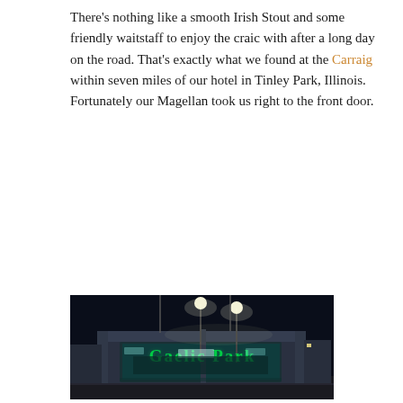There's nothing like a smooth Irish Stout and some friendly waitstaff to enjoy the craic with after a long day on the road. That's exactly what we found at the Carraig within seven miles of our hotel in Tinley Park, Illinois. Fortunately our Magellan took us right to the front door.
[Figure (photo): Nighttime exterior photo of Gaelic Park building with green neon signage reading 'Gaelic Park', illuminated entrance with teal/blue lighting, street lamps visible against dark sky.]